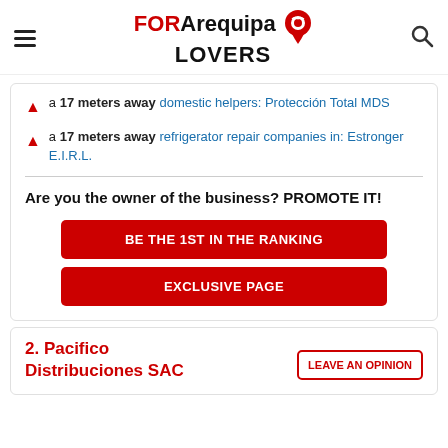FOR Arequipa LOVERS
a 17 meters away domestic helpers: Protección Total MDS
a 17 meters away refrigerator repair companies in: Estronger E.I.R.L.
Are you the owner of the business? PROMOTE IT!
BE THE 1ST IN THE RANKING
EXCLUSIVE PAGE
2. Pacifico Distribuciones SAC
LEAVE AN OPINION